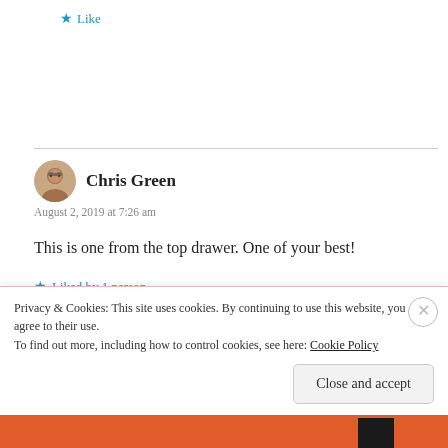★ Like
Chris Green
August 2, 2019 at 7:26 am

This is one from the top drawer. One of your best!

★ Liked by 1 person
Privacy & Cookies: This site uses cookies. By continuing to use this website, you agree to their use.
To find out more, including how to control cookies, see here: Cookie Policy

Close and accept